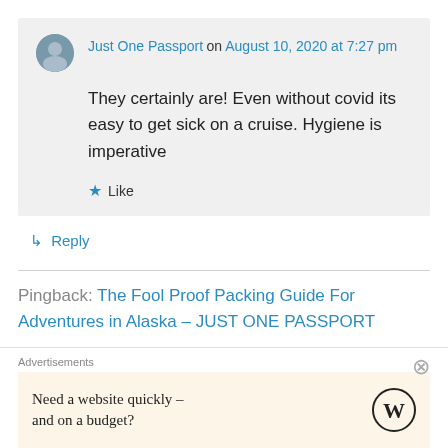Just One Passport on August 10, 2020 at 7:27 pm
They certainly are! Even without covid its easy to get sick on a cruise. Hygiene is imperative
★ Like
↳ Reply
Pingback: The Fool Proof Packing Guide For Adventures in Alaska – JUST ONE PASSPORT
Advertisements
Need a website quickly – and on a budget?